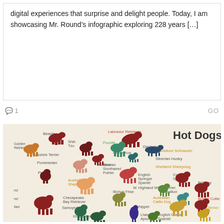digital experiences that surprise and delight people. Today, I am showcasing Mr. Round's infographic exploring 228 years […]
💬 1    GO
[Figure (infographic): Hot Dogs! infographic showing various dog breed silhouettes in different colors on a cream/beige background, with breed names labeled including Beagle, Labrador Retriever, Poodle, Dachshund, Shih Tzu, Golden Retriever, Yorkshire Terrier, Pomeranian, Miniature Schnauzer, Siberian Husky, Shetland Sheepdog, German Shorthaired Pointer, Maltese, Chihuahua, Cocker Spaniel, English Springer Spaniel, W. Highland White Terrier, Pug, Australian Shepherd, Bichon Frise, Papillon, Brittany, Border Collie, Chesapeake Bay Retriever, Samoyed, Whippet, Irish Setter, Lhasa Apso, English Cocker Spaniel, Cairn Terrier, and others.]